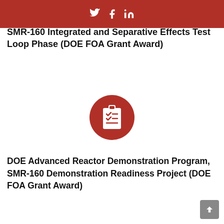Social media icons (Twitter, Facebook, LinkedIn) in red header bar
SMR-160 Integrated and Separative Effects Test Loop Phase (DOE FOA Grant Award)
[Figure (illustration): Dark red circular icon with a clipboard and checklist graphic in white]
DOE Advanced Reactor Demonstration Program, SMR-160 Demonstration Readiness Project (DOE FOA Grant Award)